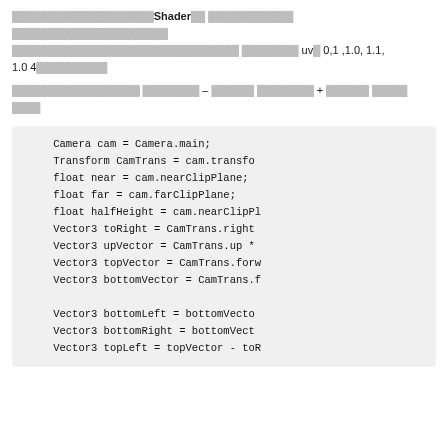[redacted]Shader[redacted] uv 0,1 ,1.0, 1.1, 1.0 4[redacted]
[redacted] – [redacted] + [redacted] [redacted]
Camera cam = Camera.main;
Transform CamTrans = cam.transfo
float near = cam.nearClipPlane;
float far = cam.farClipPlane;
float halfHeight = cam.nearClipPl
Vector3 toRight = CamTrans.right
Vector3 upVector = CamTrans.up *
Vector3 topVector = CamTrans.forw
Vector3 bottomVector = CamTrans.f

Vector3 bottomLeft = bottomVecto
Vector3 bottomRight = bottomVect
Vector3 topLeft = topVector - toR